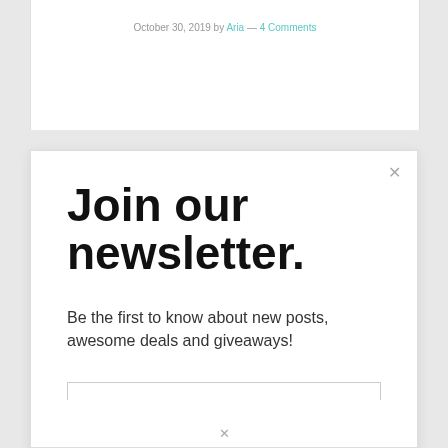October 30, 2019 by Aria — 4 Comments
Join our newsletter.
Be the first to know about new posts, awesome deals and giveaways!
Email address
Subscribe